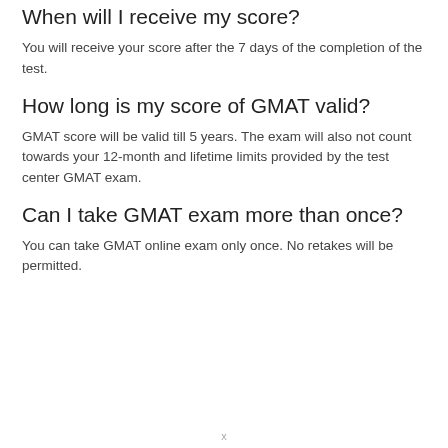When will I receive my score?
You will receive your score after the 7 days of the completion of the test.
How long is my score of GMAT valid?
GMAT score will be valid till 5 years. The exam will also not count towards your 12-month and lifetime limits provided by the test center GMAT exam.
Can I take GMAT exam more than once?
You can take GMAT online exam only once. No retakes will be permitted.
x